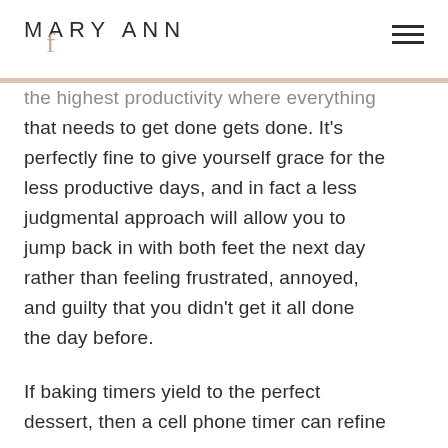MARY ANN
the highest productivity where everything that needs to get done gets done. It's perfectly fine to give yourself grace for the less productive days, and in fact a less judgmental approach will allow you to jump back in with both feet the next day rather than feeling frustrated, annoyed, and guilty that you didn't get it all done the day before.
If baking timers yield to the perfect dessert, then a cell phone timer can refine